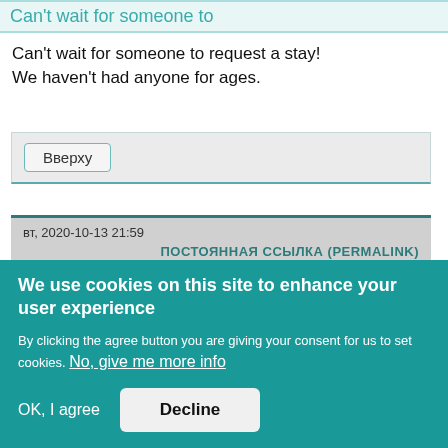Can't wait for someone to
Can't wait for someone to request a stay! We haven't had anyone for ages.
Вверху
вт, 2020-10-13 21:59
ПОСТОЯННАЯ ССЫЛКА (PERMALINK)
We use cookies on this site to enhance your user experience
By clicking the agree button you are giving your consent for us to set cookies. No, give me more info
OK, I agree  Decline